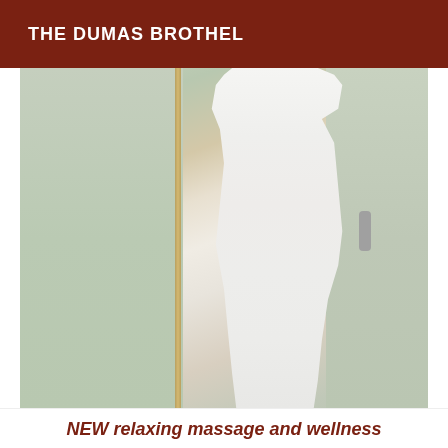THE DUMAS BROTHEL
[Figure (photo): A woman in a white form-fitting dress standing between glass/mirror doors]
NEW relaxing massage and wellness